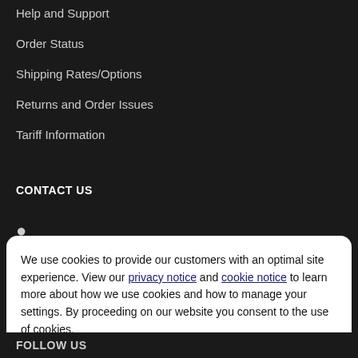Help and Support
Order Status
Shipping Rates/Options
Returns and Order Issues
Tariff Information
CONTACT US
We use cookies to provide our customers with an optimal site experience. View our privacy notice and cookie notice to learn more about how we use cookies and how to manage your settings. By proceeding on our website you consent to the use of cookies.
Continue
Exit
Privacy Notice
FOLLOW US